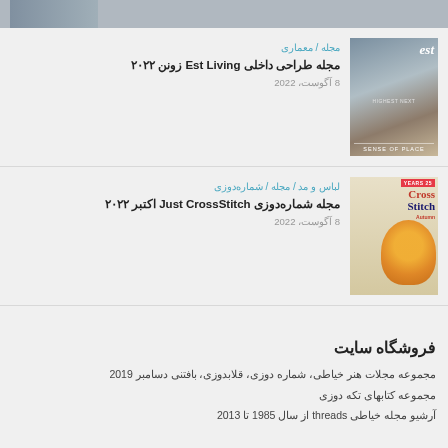[Figure (photo): Top strip partial magazine cover image]
مجله / معماری
مجله طراحی داخلی Est Living زونن ۲۰۲۲
8 آگوست، 2022
[Figure (photo): Est Living interior design magazine cover]
لباس و مد / مجله / شماره‌دوزی
مجله شماره‌دوزی Just CrossStitch اکتبر ۲۰۲۲
8 آگوست، 2022
[Figure (photo): Just CrossStitch magazine cover with autumn floral cross stitch]
فروشگاه سایت
مجموعه مجلات هنر خیاطی، شماره دوزی، قلابدوزی، بافتنی دسامبر 2019
مجموعه کتابهای تکه دوزی
آرشیو مجله خیاطی threads از سال 1985 تا 2013